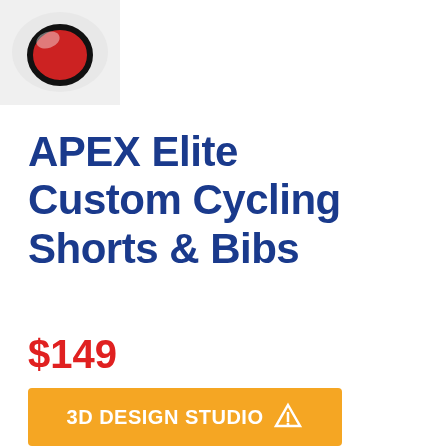[Figure (photo): Product photo of cycling shorts/bibs with red and black design on white background]
APEX Elite Custom Cycling Shorts & Bibs
$149
[Figure (other): Orange button labeled '3D DESIGN STUDIO' with logo icon]
Create a design now!  You're the artist with our 3D Design Studio.
[Figure (other): Orange 'Get Started!' button partially visible at bottom]